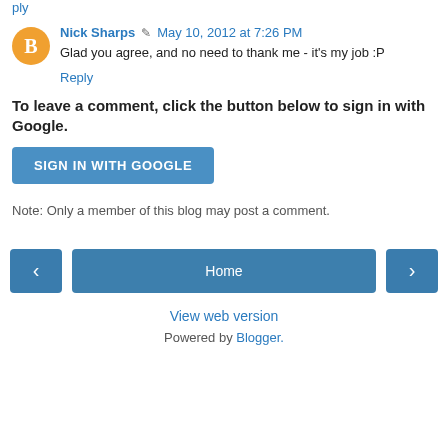Nick Sharps  May 10, 2012 at 7:26 PM
Glad you agree, and no need to thank me - it's my job :P
Reply
To leave a comment, click the button below to sign in with Google.
SIGN IN WITH GOOGLE
Note: Only a member of this blog may post a comment.
Home
View web version
Powered by Blogger.